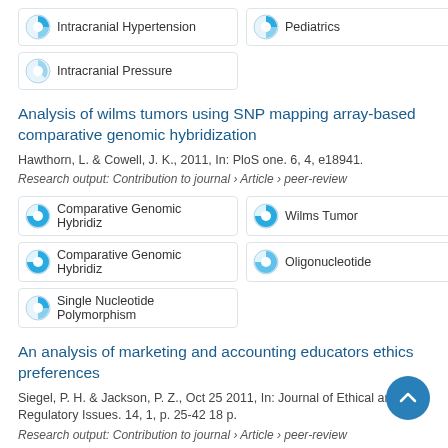Intracranial Hypertension
Pediatrics
Intracranial Pressure
Analysis of wilms tumors using SNP mapping array-based comparative genomic hybridization
Hawthorn, L. & Cowell, J. K., 2011, In: PloS one. 6, 4, e18941.
Research output: Contribution to journal › Article › peer-review
Comparative Genomic Hybridiz
Wilms Tumor
Comparative Genomic Hybridiz
Oligonucleotide
Single Nucleotide Polymorphism
An analysis of marketing and accounting educators ethics preferences
Siegel, P. H. & Jackson, P. Z., Oct 25 2011, In: Journal of Ethical and Regulatory Issues. 14, 1, p. 25-42 18 p.
Research output: Contribution to journal › Article › peer-review